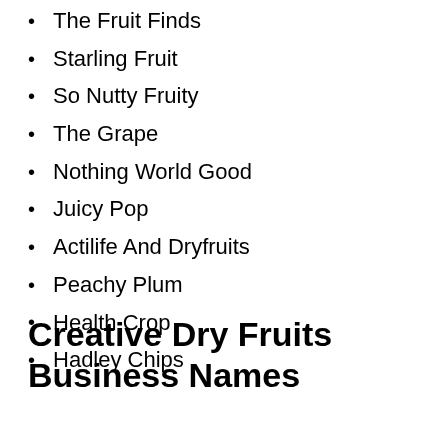The Fruit Finds
Starling Fruit
So Nutty Fruity
The Grape
Nothing World Good
Juicy Pop
Actilife And Dryfruits
Peachy Plum
Health Crop
Hadley Chips
Creative Dry Fruits Business Names